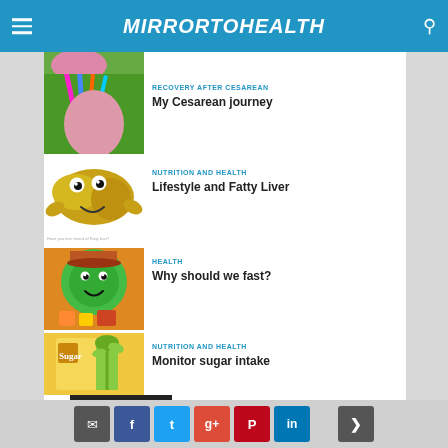MIRRORTOHEALTH
[Figure (photo): Partial thumbnail image at top]
RECOVERY AFTER CESAREAN
My Cesarean journey
[Figure (illustration): Cartoon fatty liver illustration]
NUTRITION AND HEALTH
Lifestyle and Fatty Liver
[Figure (illustration): Cartoon fasting illustration]
HEALTH
Why should we fast?
[Figure (illustration): Sugar cube illustration]
NUTRITION AND HEALTH
Monitor sugar intake
Recent Posts